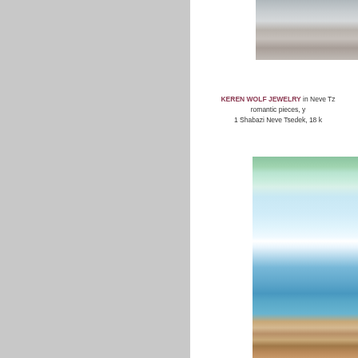[Figure (photo): Close-up photo of jewelry pieces on a light background]
KEREN WOLF JEWELRY in Neve Tz... romantic pieces, y... 1 Shabazi Neve Tsedek, 18 k...
[Figure (photo): Beach scene with people relaxing and swimming, tropical setting with turquoise water and trees]